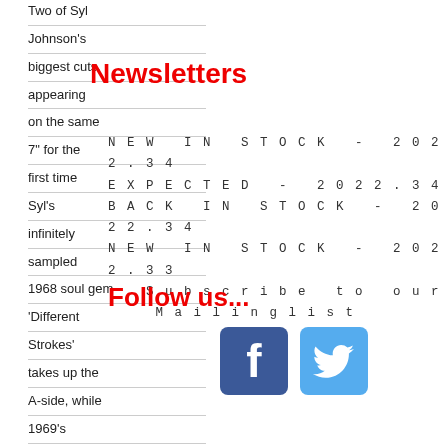Two of Syl Johnson's biggest cuts, appearing on the same 7" for the first time Syl's infinitely sampled 1968 soul gem 'Different Strokes' takes up the A-side, while 1969's moody, political deep soul burner 'Is It Because I'm Black' comes in its original single
Newsletters
NEW IN STOCK - 2022.34
EXPECTED - 2022.34
BACK IN STOCK - 2022.34
NEW IN STOCK - 2022.33
Subscribe to our
Mailinglist
Follow us...
[Figure (logo): Facebook logo icon (blue square with white 'f')]
[Figure (logo): Twitter logo icon (blue square with white bird)]